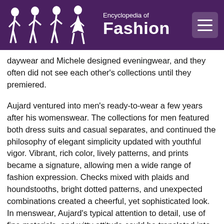Encyclopedia of Fashion
daywear and Michele designed eveningwear, and they often did not see each other's collections until they premiered.
Aujard ventured into men's ready-to-wear a few years after his womenswear. The collections for men featured both dress suits and casual separates, and continued the philosophy of elegant simplicity updated with youthful vigor. Vibrant, rich color, lively patterns, and prints became a signature, allowing men a wide range of fashion expression. Checks mixed with plaids and houndstooths, bright dotted patterns, and unexpected combinations created a cheerful, yet sophisticated look. In menswear, Aujard's typical attention to detail, use of fine materials, and witty attitude could be translated into a glamorous double-breasted suit of unexpected and dazzling white wool.
At the time of her husband's accidental death in March 1977, Michele took over the business and continued designing under the Christian Aujard name. At first she did not change